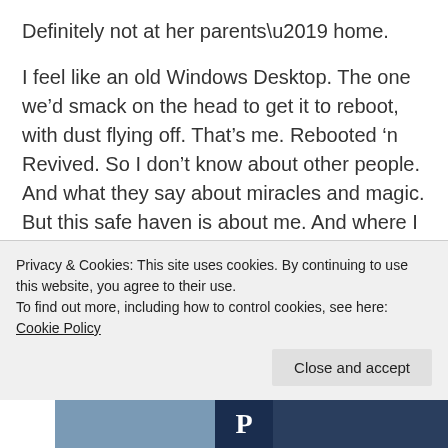Definitely not at her parents’ home.
I feel like an old Windows Desktop. The one we’d smack on the head to get it to reboot, with dust flying off. That’s me. Rebooted ‘n Revived. So I don’t know about other people. And what they say about miracles and magic. But this safe haven is about me. And where I came from. Tucked between childhood pictures. In furniture as old as I am. In countless hazy memories. In old faces. In
Privacy & Cookies: This site uses cookies. By continuing to use this website, you agree to their use.
To find out more, including how to control cookies, see here: Cookie Policy
Close and accept